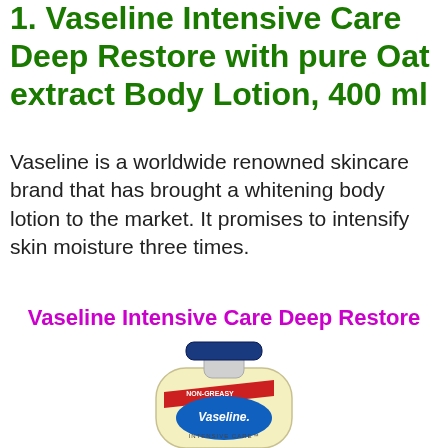1. Vaseline Intensive Care Deep Restore with pure Oat extract Body Lotion, 400 ml
Vaseline is a worldwide renowned skincare brand that has brought a whitening body lotion to the market. It promises to intensify skin moisture three times.
Vaseline Intensive Care Deep Restore
[Figure (photo): Photo of a Vaseline Intensive Care Deep Restore body lotion pump bottle with a blue cap, cream/yellow colored bottle body with a red banner labeled NON-GREASY, blue oval Vaseline logo, and INTENSIVE CARE text.]